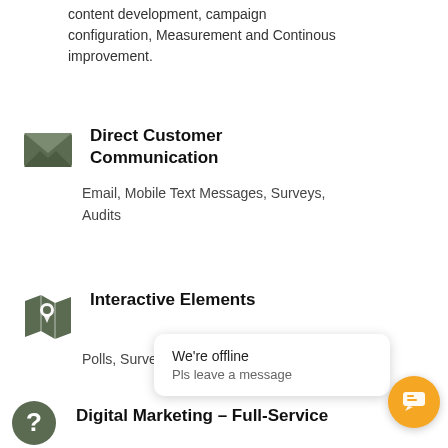content development, campaign configuration, Measurement and Continous improvement.
Direct Customer Communication
Email, Mobile Text Messages, Surveys, Audits
Interactive Elements
Polls, Surveys, Videos, Maps, Chatbots
We're offline
Pls leave a message
Digital Marketing – Full-Service